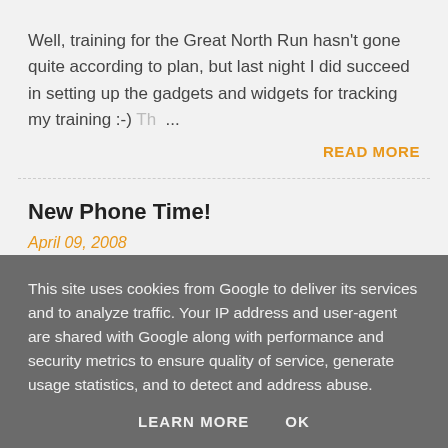Well, training for the Great North Run hasn't gone quite according to plan, but last night I did succeed in setting up the gadgets and widgets for tracking my training :-) Th...
READ MORE
New Phone Time!
April 09, 2008
I have to confess that I am a long-term fan of Nokia's phones even though, looks-wise, they're looking quite...
This site uses cookies from Google to deliver its services and to analyze traffic. Your IP address and user-agent are shared with Google along with performance and security metrics to ensure quality of service, generate usage statistics, and to detect and address abuse.
LEARN MORE    OK